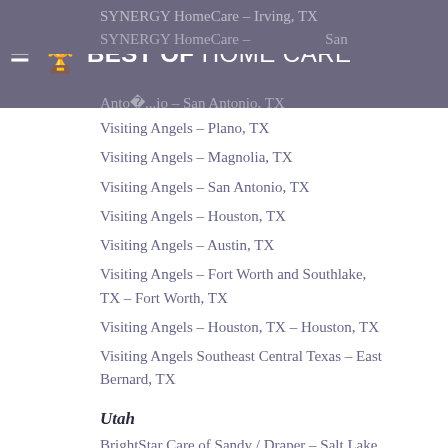BEST OF HOME CARE®
SYNERGY HomeCare – Irving, TX
SYNERGY HomeCare – San Antonio, TX
Visiting Angels – Plano, TX
Visiting Angels – Magnolia, TX
Visiting Angels – San Antonio, TX
Visiting Angels – Houston, TX
Visiting Angels – Austin, TX
Visiting Angels – Fort Worth and Southlake, TX – Fort Worth, TX
Visiting Angels – Houston, TX – Houston, TX
Visiting Angels Southeast Central Texas – East Bernard, TX
Utah
BrightStar Care of Sandy / Draper – Salt Lake City , UT
Danville Support Services – Midvale, UT